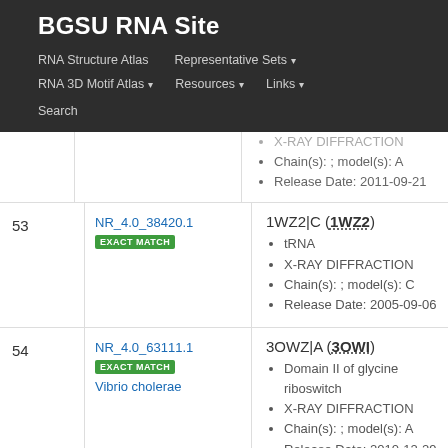BGSU RNA Site
RNA Structure Atlas | Representative Sets | RNA 3D Motif Atlas | Resources | Links | Search
| # | ID | Info |
| --- | --- | --- |
|  |  | X-RAY DIFFRACTION
Chain(s): ; model(s): A
Release Date: 2011-09-21 |
| 53 | NR_4.0_38420.1 EXACT MATCH | 1WZ2|C (1WZ2)
tRNA
X-RAY DIFFRACTION
Chain(s): ; model(s): C
Release Date: 2005-09-06 |
| 54 | NR_4.0_63111.1 EXACT MATCH Vibrio cholerae | 3OWZ|A (3OWI)
Domain II of glycine riboswitch
X-RAY DIFFRACTION
Chain(s): ; model(s): A
Release Date: 2010-12-29 |